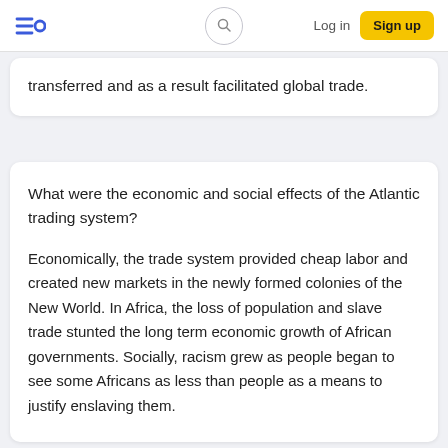≡Q  [search]  Log in  Sign up
transferred and as a result facilitated global trade.
What were the economic and social effects of the Atlantic trading system?
Economically, the trade system provided cheap labor and created new markets in the newly formed colonies of the New World. In Africa, the loss of population and slave trade stunted the long term economic growth of African governments. Socially, racism grew as people began to see some Africans as less than people as a means to justify enslaving them.